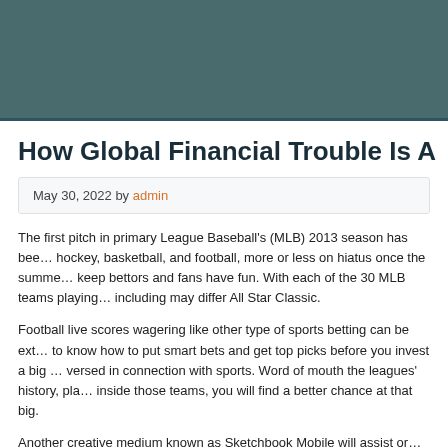How Global Financial Trouble Is A…
May 30, 2022 by admin
The first pitch in primary League Baseball's (MLB) 2013 season has bee… hockey, basketball, and football, more or less on hiatus once the summe… keep bettors and fans have fun. With each of the 30 MLB teams playing… including may differ All Star Classic.
Football live scores wagering like other type of sports betting can be ext… to know how to put smart bets and get top picks before you invest a big … versed in connection with sports. Word of mouth the leagues' history, pla… inside those teams, you will find a better chance at that big.
Another creative medium known as Sketchbook Mobile will assist or…